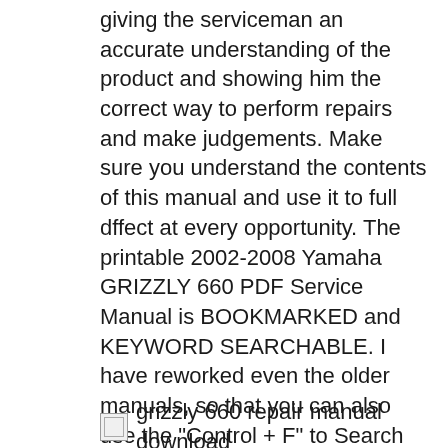giving the serviceman an accurate understanding of the product and showing him the correct way to perform repairs and make judgements. Make sure you understand the contents of this manual and use it to full dffect at every opportunity. The printable 2002-2008 Yamaha GRIZZLY 660 PDF Service Manual is BOOKMARKED and KEYWORD SEARCHABLE. I have reworked even the older manuals, so that you can also use the "Control + F" to Search Keywords. . You will not find a better Service Manual for the 2002-2008 Yamaha GRIZZLY 660. . If you need a Repair Manual, Please buy this one..
[Figure (other): Broken image placeholder followed by text 'grizzly 660 repair manual download']